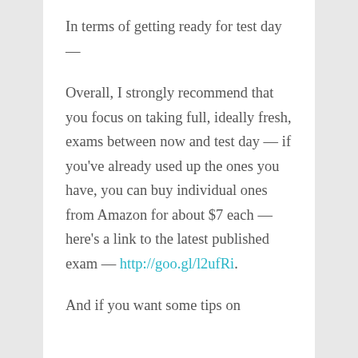In terms of getting ready for test day —
Overall, I strongly recommend that you focus on taking full, ideally fresh, exams between now and test day — if you've already used up the ones you have, you can buy individual ones from Amazon for about $7 each — here's a link to the latest published exam — http://goo.gl/l2ufRi.
And if you want some tips on